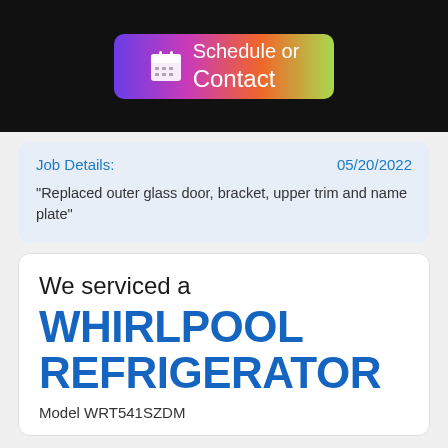[Figure (screenshot): Schedule or Contact button with calendar icon, gradient background from purple to green]
Job Details: 05/20/2022
"Replaced outer glass door, bracket, upper trim and name plate"
We serviced a
WHIRLPOOL REFRIGERATOR
Model WRT541SZDM